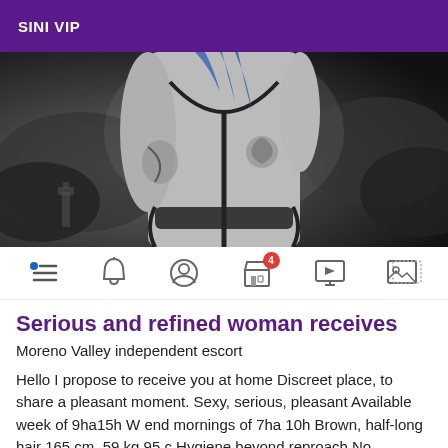SINI VIP
[Figure (illustration): Black and white fantasy/digital art illustration of a woman in a bikini with blue hair and tattoos against a dark dramatic sky background]
[Figure (infographic): Navigation bar icons: hamburger menu with blue dot, bell icon, user/profile circle icon, building/store icon with red badge showing '4', monitor with play button icon, image/gallery icon]
Serious and refined woman receives
Moreno Valley independent escort
Hello I propose to receive you at home Discreet place, to share a pleasant moment. Sexy, serious, pleasant Available week of 9ha15h W end mornings of 7ha 10h Brown, half-long hair 165 cm ,59 kg,95 c Hygiene beyond reproach No passage Only on call, no emails thank you. To the pleasure.. Gentleman